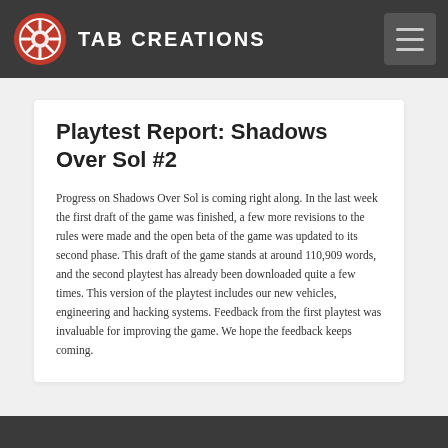TAB CREATIONS
Playtest Report: Shadows Over Sol #2
Progress on Shadows Over Sol is coming right along. In the last week the first draft of the game was finished, a few more revisions to the rules were made and the open beta of the game was updated to its second phase. This draft of the game stands at around 110,909 words, and the second playtest has already been downloaded quite a few times. This version of the playtest includes our new vehicles, engineering and hacking systems. Feedback from the first playtest was invaluable for improving the game. We hope the feedback keeps coming.